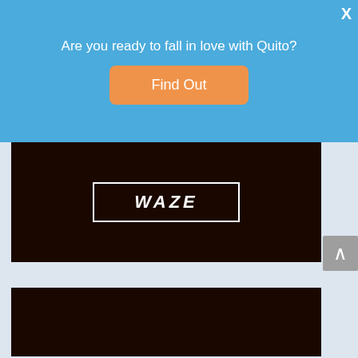[Figure (screenshot): Blue promotional banner with text 'Are you ready to fall in love with Quito?' and an orange 'Find Out' button, with an X close button in the top right]
[Figure (screenshot): Partially visible dark brown card showing 'WAZE' text in a white-bordered box]
[Figure (screenshot): Dark brown panel with 'Download' in serif text, 'WAZE on iTunes' in bold white, and a 'WAZE' button in a white border box. A gray scroll-up button is visible on the right side.]